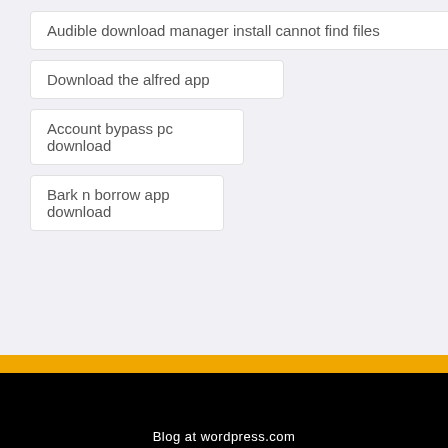Audible download manager install cannot find files
Download the alfred app
Account bypass pc download
Bark n borrow app download
Search Here
Blog at wordpress.com